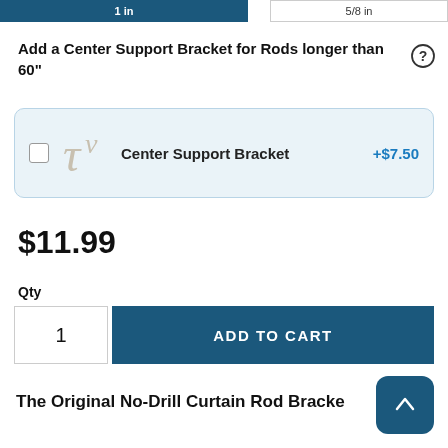1 in
5/8 in
Add a Center Support Bracket for Rods longer than 60"
Center Support Bracket +$7.50
$11.99
Qty
1
ADD TO CART
The Original No-Drill Curtain Rod Bracket